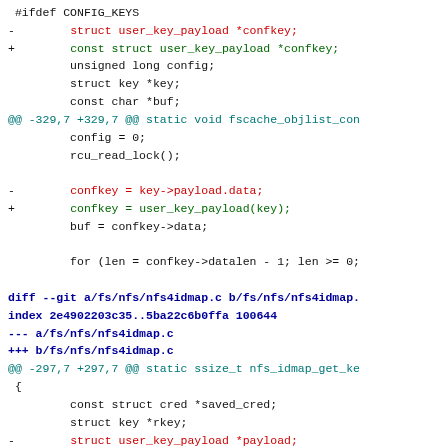Diff code snippet showing changes to user_key_payload struct members and fscache/nfs idmap code.